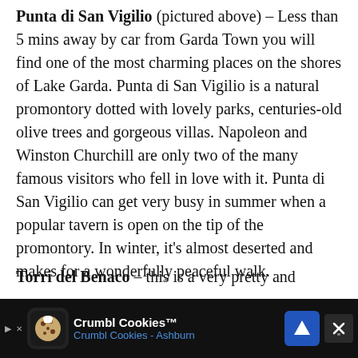Punta di San Vigilio (pictured above) – Less than 5 mins away by car from Garda Town you will find one of the most charming places on the shores of Lake Garda. Punta di San Vigilio is a natural promontory dotted with lovely parks, centuries-old olive trees and gorgeous villas. Napoleon and Winston Churchill are only two of the many famous visitors who fell in love with it. Punta di San Vigilio can get very busy in summer when a popular tavern is open on the tip of the promontory. In winter, it's almost deserted and makes for a wonderfully peaceful walk.
Torri del Benaco – this is a very pretty and
[Figure (other): Advertisement banner for Crumbl Cookies - Crumbl Cookies Ashburn, shown at bottom of page with dark background, cookie icon, navigation arrow icon, and close button]